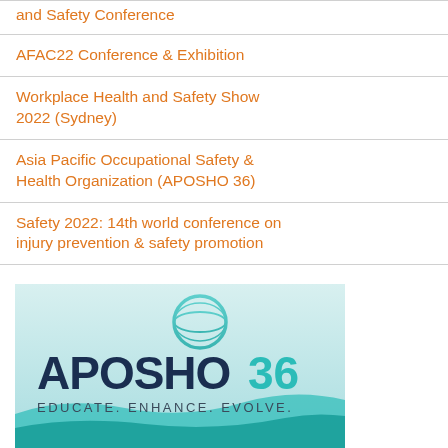and Safety Conference
AFAC22 Conference & Exhibition
Workplace Health and Safety Show 2022 (Sydney)
Asia Pacific Occupational Safety & Health Organization (APOSHO 36)
Safety 2022: 14th world conference on injury prevention & safety promotion
[Figure (logo): APOSHO 36 conference logo with globe icon, teal and dark navy text reading 'APOSHO36' and tagline 'EDUCATE. ENHANCE. EVOLVE.' on a light teal gradient background with wave design.]